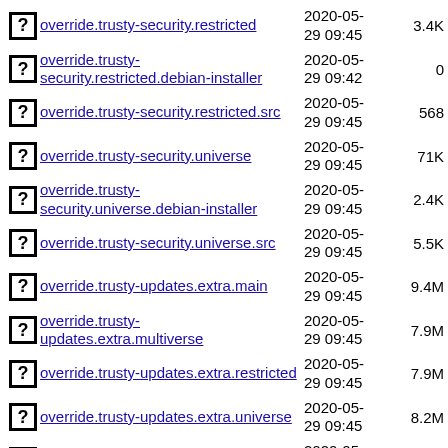override.trusty-security.restricted 2020-05-29 09:45 3.4K
override.trusty-security.restricted.debian-installer 2020-05-29 09:42 0
override.trusty-security.restricted.src 2020-05-29 09:45 568
override.trusty-security.universe 2020-05-29 09:45 71K
override.trusty-security.universe.debian-installer 2020-05-29 09:45 2.4K
override.trusty-security.universe.src 2020-05-29 09:45 5.5K
override.trusty-updates.extra.main 2020-05-29 09:45 9.4M
override.trusty-updates.extra.multiverse 2020-05-29 09:45 7.9M
override.trusty-updates.extra.restricted 2020-05-29 09:45 7.9M
override.trusty-updates.extra.universe 2020-05-29 09:45 8.2M
override.trusty-updates.main 2020-05-29 09:45 558K